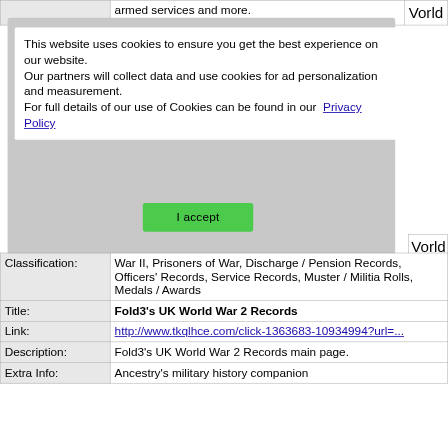armed services and more.
This website uses cookies to ensure you get the best experience on our website.
Our partners will collect data and use cookies for ad personalization and measurement.
For full details of our use of Cookies can be found in our Privacy Policy
I accept
| Classification: | War II, Prisoners of War, Discharge / Pension Records, Officers' Records, Service Records, Muster / Militia Rolls, Medals / Awards |
| Title: | Fold3's UK World War 2 Records |
| Link: | http://www.tkqlhce.com/click-1363683-10934994?url=... |
| Description: | Fold3's UK World War 2 Records main page. |
| Extra Info: | Ancestry's military history companion |